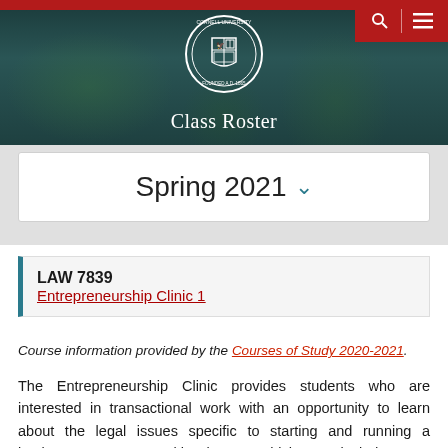[Figure (screenshot): Cornell University website header banner with campus photo, university seal, and Class Roster title]
Class Roster
Spring 2021
LAW 7839
Entrepreneurship Clinic 1
Course information provided by the Courses of Study 2020-2021.
The Entrepreneurship Clinic provides students who are interested in transactional work with an opportunity to learn about the legal issues specific to starting and running a business venture. Weekly classes, which may include guest speakers, will introduce students to the common legal questions that entrepreneurs face, including how to choose and form a business entity, structure the ownership